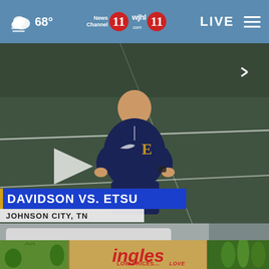68° News Channel 11 WJHL 11 LIVE
[Figure (screenshot): Video thumbnail showing a man in a navy blue ETSU Nike polo shirt standing on a soccer field with hands on hips, looking down. A play button overlay is visible on the left. Lower third graphic reads 'DAVIDSON VS. ETSU' with subtitle 'JOHNSON CITY, TN'. Share icon visible top right.]
DAVIDSON VS. ETSU — JOHNSON CITY, TN
[Figure (photo): Ingles Markets advertisement banner with vegetables, red tomato, green peppers on left, Ingles logo in center, greens on right. Tagline: LOW PRICES... LOVE THE SAVINGS!]